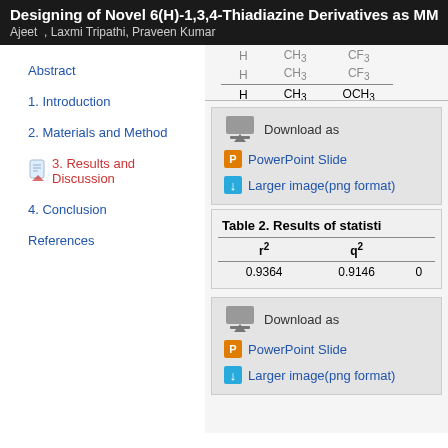Designing of Novel 6(H)-1,3,4-Thiadiazine Derivatives as MMP12 I
Ajeet , Laxmi Tripathi, Praveen Kumar
Abstract
1. Introduction
2. Materials and Method
3. Results and Discussion
4. Conclusion
References
| H | CH3 | OCH3 |
| --- | --- | --- |
| H | CH3 | CF3 |
Download as
PowerPoint Slide
Larger image(png format)
Table 2. Results of statisti
| r² | q² |
| --- | --- |
| 0.9364 | 0.9146 | 0 |
Download as
PowerPoint Slide
Larger image(png format)